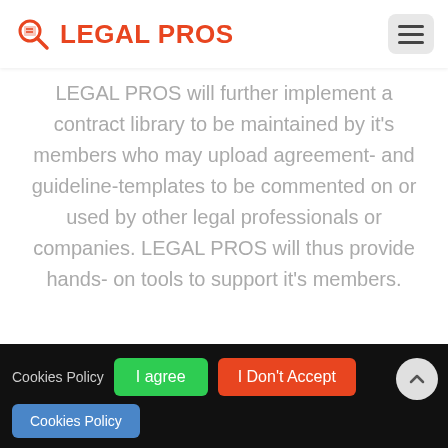LEGAL PROS
LEGAL PROS will further implement a contract library to be maintained by it's members who may upload agreement- and guideline-templates to be commented on or used by other legal professionals or companies. LEGAL PROS will thus provide hands- on tools to support it's members.
[Figure (screenshot): Cookie consent banner with 'I agree' green button, 'I Don't Accept' red button, and 'Cookies Policy' blue button on black background]